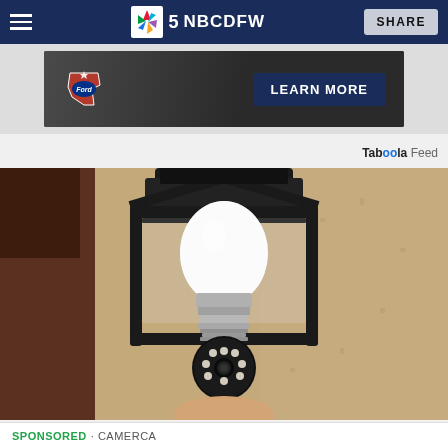NBC DFW - Navigation bar with hamburger menu, NBC 5 DFW logo, and SHARE button
[Figure (photo): Ford advertisement banner with 'LEARN MORE' button and Ford/Texas logo]
Taboola Feed
[Figure (photo): Close-up photo of a light bulb security camera (CamerCA) being installed in an outdoor wall-mounted lantern fixture on a stucco wall]
SPONSORED · CAMERCA